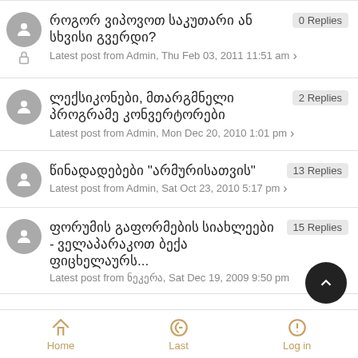როგორ ვიპოვოთ საკუთარი ან სხვისი გვერდი? | 0 Replies | Latest post from Admin, Thu Feb 03, 2011 11:51 am
ლექსიკონები, მთარგმნელი პროგრამე კონვერტორები | 2 Replies | Latest post from Admin, Mon Dec 20, 2010 1:01 pm
წინადადებები "არმურისათვის" | 13 Replies | Latest post from Admin, Sat Oct 23, 2010 5:17 pm
ფორუმის გაფორმების სიახლეები -ველაპარაკოთ ბექა ფიცხელაურს... | 15 Replies | Latest post from ნეკერა, Sat Dec 19, 2009 9:50 pm
Home | Last | Log in